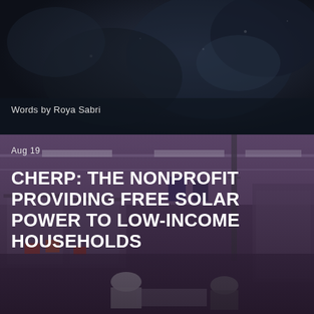[Figure (photo): Dark, moody aerial or close-up photo with dark blue/black tones, appears to show a landscape or abstract texture]
Words by Roya Sabri
[Figure (photo): Interior of what appears to be a solar panel manufacturing facility or industrial workspace, with purple/pink lighting, industrial equipment, two workers visible in the foreground]
Aug 19
CHERP: THE NONPROFIT PROVIDING FREE SOLAR POWER TO LOW-INCOME HOUSEHOLDS